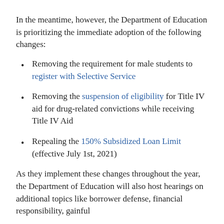In the meantime, however, the Department of Education is prioritizing the immediate adoption of the following changes:
Removing the requirement for male students to register with Selective Service
Removing the suspension of eligibility for Title IV aid for drug-related convictions while receiving Title IV Aid
Repealing the 150% Subsidized Loan Limit (effective July 1st, 2021)
As they implement these changes throughout the year, the Department of Education will also host hearings on additional topics like borrower defense, financial responsibility, gainful